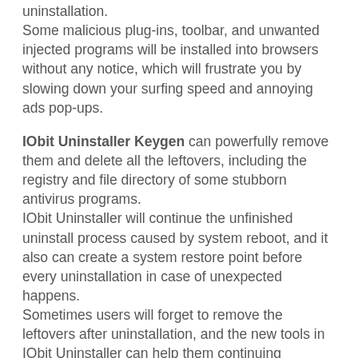uninstallation. Some malicious plug-ins, toolbar, and unwanted injected programs will be installed into browsers without any notice, which will frustrate you by slowing down your surfing speed and annoying ads pop-ups.
IObit Uninstaller Keygen can powerfully remove them and delete all the leftovers, including the registry and file directory of some stubborn antivirus programs. IObit Uninstaller will continue the unfinished uninstall process caused by system reboot, and it also can create a system restore point before every uninstallation in case of unexpected happens. Sometimes users will forget to remove the leftovers after uninstallation, and the new tools in IObit Uninstaller can help them continuing powerful scan for the programs in the uninstall history.